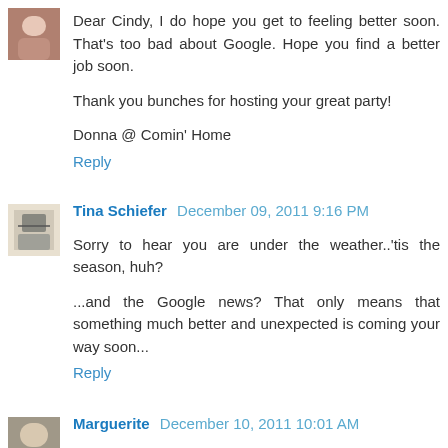Dear Cindy, I do hope you get to feeling better soon. That's too bad about Google. Hope you find a better job soon.

Thank you bunches for hosting your great party!

Donna @ Comin' Home
Reply
Tina Schiefer  December 09, 2011 9:16 PM
Sorry to hear you are under the weather..'tis the season, huh?

...and the Google news? That only means that something much better and unexpected is coming your way soon...
Reply
Marguerite  December 10, 2011 10:01 AM
Sorry about Google, but you're right about it being their